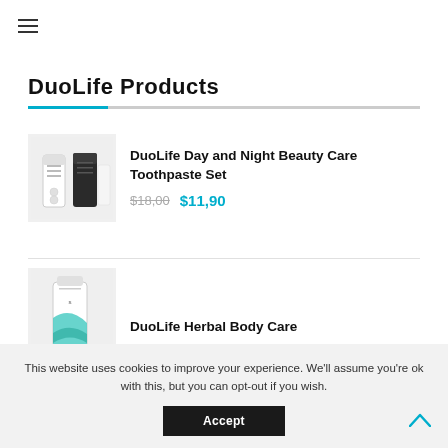☰
DuoLife Products
[Figure (photo): DuoLife Day and Night Beauty Care Toothpaste Set product image - white and black tubes]
DuoLife Day and Night Beauty Care Toothpaste Set
$18,00  $11,90
[Figure (photo): DuoLife Herbal Body Care product image - white tube with teal/green design]
DuoLife Herbal Body Care
This website uses cookies to improve your experience. We'll assume you're ok with this, but you can opt-out if you wish.
Accept